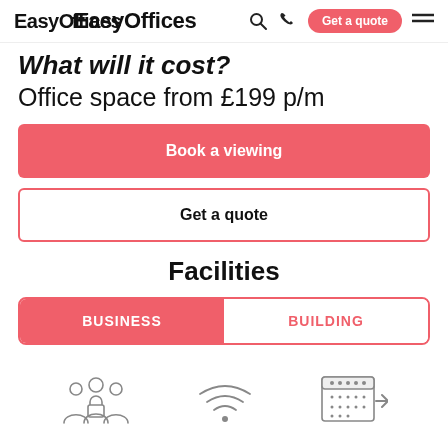EasyOffices — navigation bar with search, phone, Get a quote button, and menu icon
What will it cost?
Office space from £199 p/m
Book a viewing
Get a quote
Facilities
BUSINESS | BUILDING
[Figure (illustration): Three facility icons at the bottom: people/group icon, wifi signal icon, and calendar with arrow icon]